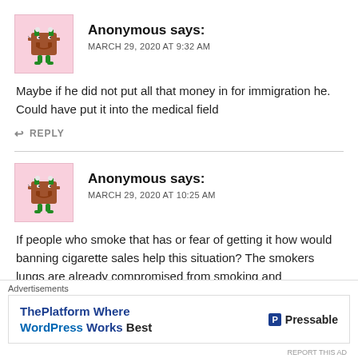Anonymous says: MARCH 29, 2020 AT 9:32 AM
Maybe if he did not put all that money in for immigration he. Could have put it into the medical field
↩ REPLY
Anonymous says: MARCH 29, 2020 AT 10:25 AM
If people who smoke that has or fear of getting it how would banning cigarette sales help this situation? The smokers lungs are already compromised from smoking and
Advertisements
ThePlatform Where WordPress Works Best   P Pressable